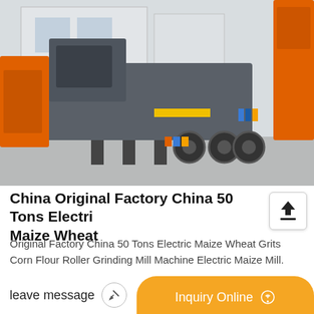[Figure (photo): Photograph of a large mobile crushing/grinding machine on a trailer in an industrial yard. The machine is gray/dark colored with orange accents. Orange construction equipment is visible in the background along with factory buildings.]
China Original Factory China 50 Tons Electric Maize Wheat
Original Factory China 50 Tons Electric Maize Wheat Grits Corn Flour Roller Grinding Mill Machine Electric Maize Mill.
and installed together with the
leave message
Inquiry Online